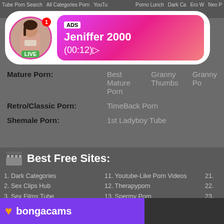Tube Porn Search   All Categories Porn   YouTube   Porno Lunch   Dark Ca   Ero W   Neo P
[Figure (other): Ad popup with live avatar of a woman, ADS label, name Jeniffer 2000, time (00:12), LIVE badge, pink gradient background]
Gene
Mature Porn:   Best Mature Porn   Granny Thumbs   Granny Po
Retro/Classic Porn:   TimeBack Porn
Shemale Porn:   1st Ladyboy Tube
Best Free Sites:
1. Dark Categories
2. Sex Clips Hub
3. Sex Films Tube
4. Sex Videos
5. Real Porn Videos
6. 1 Class Tube
7. Hard Categories
8. Veryhotsex.Net
9. Wankworld
10. Hq Porn Vidz
11. Youtube-Like Porn Videos
12. Therapyporn
13. Spermy Porn
14. Sex-Free-Movies
15. Handy Hardcore
16. Porn Video Top
17. Million Movies Tube
18. Bulky Tube
19. Only Flash Porn
20. Porno 49
21.
22.
23.
24.
25.
26.
27.
28.
29.
30.
[Figure (photo): Bongacams banner with purple background, orange heart, bongacams text in white, and a dark panel on the right]